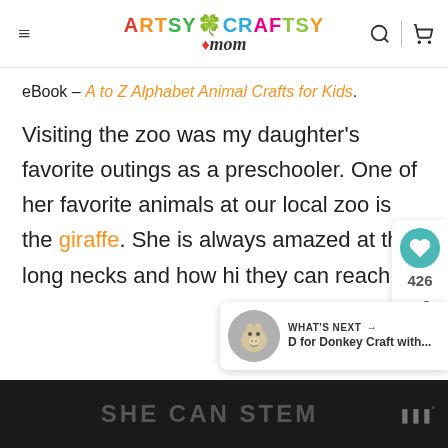Artsy Craftsy Mom
eBook – A to Z Alphabet Animal Crafts for Kids.
Visiting the zoo was my daughter's favorite outings as a preschooler. One of her favorite animals at our local zoo is the giraffe. She is always amazed at their long necks and how hi they can reach.
SHE CAN STEM